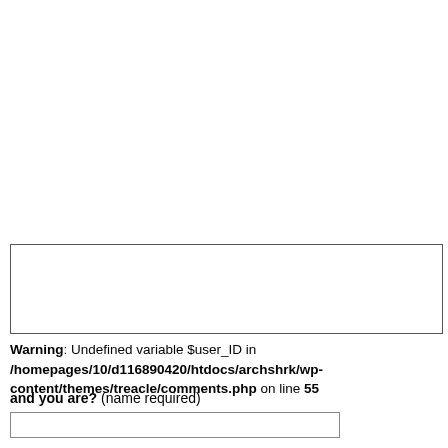[Figure (other): Empty textarea / comment input box with border]
Warning: Undefined variable $user_ID in /homepages/10/d116890420/htdocs/archshrk/wp-content/themes/treacle/comments.php on line 55
and you are? (name required)
[Figure (other): Text input field for name entry]